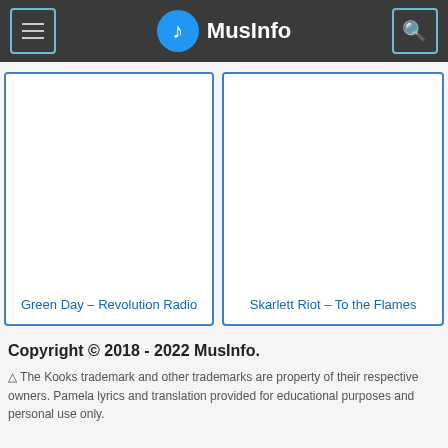MusInfo
[Figure (screenshot): Music card for Green Day – Revolution Radio with blue border]
[Figure (screenshot): Music card for Skarlett Riot – To the Flames with blue border]
Copyright © 2018 - 2022 MusInfo.
⚠ The Kooks trademark and other trademarks are property of their respective owners. Pamela lyrics and translation provided for educational purposes and personal use only.